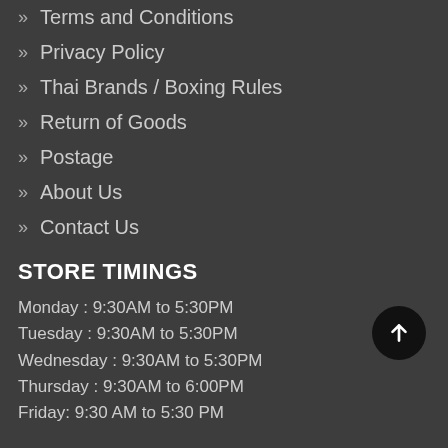Terms and Conditions
Privacy Policy
Thai Brands / Boxing Rules
Return of Goods
Postage
About Us
Contact Us
STORE TIMINGS
Monday : 9:30AM to 5:30PM
Tuesday : 9:30AM to 5:30PM
Wednesday : 9:30AM to 5:30PM
Thursday : 9:30AM to 6:00PM
Friday: 9:30 AM to 5:30 PM